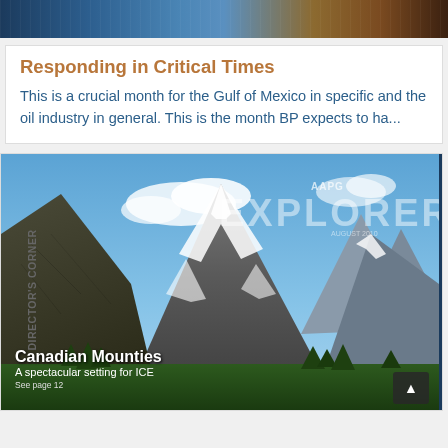[Figure (photo): Top banner photo strip showing blurred background scene with dark blue and brown tones]
Responding in Critical Times
This is a crucial month for the Gulf of Mexico in specific and the oil industry in general. This is the month BP expects to ha...
[Figure (photo): AAPG Explorer magazine cover showing Canadian Rocky Mountains landscape with snow-capped peaks, blue sky, and forested slopes. Overlay text reads 'Canadian Mounties – A spectacular setting for ICE'. AAPG Explorer logo in upper right.]